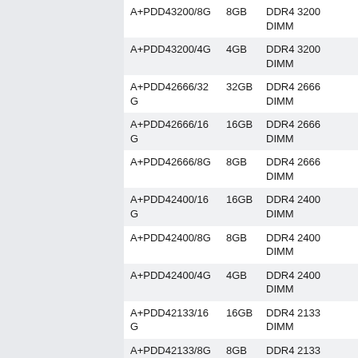| Model | Capacity | Type |
| --- | --- | --- |
| A+PDD43200/8G | 8GB | DDR4 3200 DIMM |
| A+PDD43200/4G | 4GB | DDR4 3200 DIMM |
| A+PDD42666/32G | 32GB | DDR4 2666 DIMM |
| A+PDD42666/16G | 16GB | DDR4 2666 DIMM |
| A+PDD42666/8G | 8GB | DDR4 2666 DIMM |
| A+PDD42400/16G | 16GB | DDR4 2400 DIMM |
| A+PDD42400/8G | 8GB | DDR4 2400 DIMM |
| A+PDD42400/4G | 4GB | DDR4 2400 DIMM |
| A+PDD42133/16G | 16GB | DDR4 2133 DIMM |
| A+PDD42133/8G | 8GB | DDR4 2133 DIMM |
| A+PDD42133/4G | 4GB | DDR4 2133 DIMM |